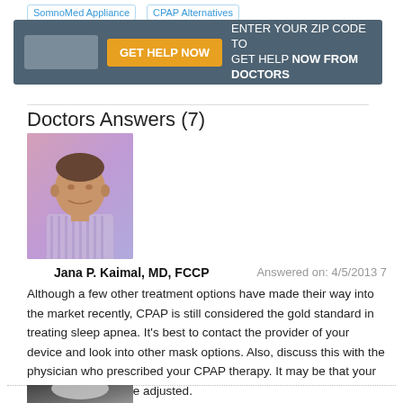SomnoMed Appliance   CPAP Alternatives
[Figure (infographic): Banner with zip code input, GET HELP NOW button, and text: ENTER YOUR ZIP CODE TO GET HELP NOW FROM DOCTORS]
Doctors Answers (7)
[Figure (photo): Photo of Dr. Jana P. Kaimal, MD, FCCP — an older man in a striped shirt against a pink/purple gradient background]
Jana P. Kaimal, MD, FCCP    Answered on: 4/5/2013 7
Although a few other treatment options have made their way into the market recently, CPAP is still considered the gold standard in treating sleep apnea. It's best to contact the provider of your device and look into other mask options. Also, discuss this with the physician who prescribed your CPAP therapy. It may be that your machine needs to be adjusted.
[Figure (photo): Photo of a second doctor (partially visible at bottom of page)]